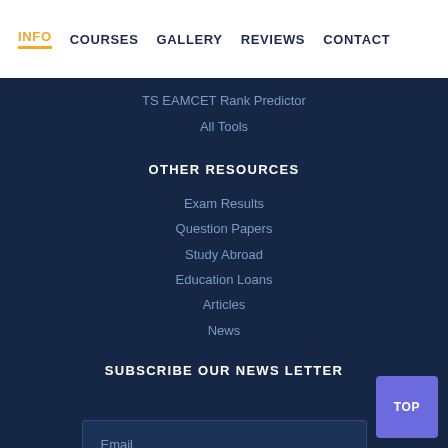INFO  COURSES  GALLERY  REVIEWS  CONTACT
TS EAMCET Rank Predictor
All Tools
OTHER RESOURCES
Exam Results
Question Papers
Study Abroad
Education Loans
Articles
News
SUBSCRIBE OUR NEWS LETTER
Email
SUBSCRIBE
TOP